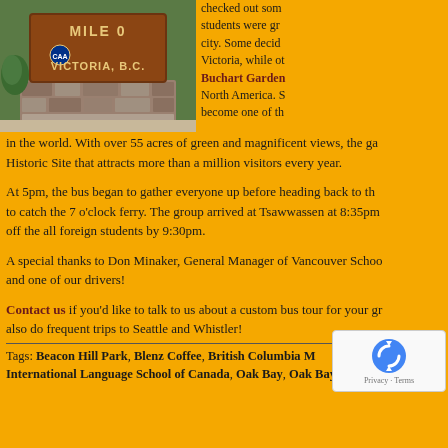[Figure (photo): Photo of a wooden sign reading MILE 0 VICTORIA B.C. with a CAA logo, surrounded by stone base and greenery]
checked out some of the sites in the city. Some decided to stay in Victoria, while others visited Buchart Gardens, one of the finest in North America. Starting as a rock quarry in 1904, it has become one of the best kept, most celebrated floral show places in the world. With over 55 acres of green and magnificent views, the gardens are a National Historic Site that attracts more than a million visitors every year.
At 5pm, the bus began to gather everyone up before heading back to the ferry terminal to catch the 7 o'clock ferry. The group arrived at Tsawwassen at 8:35pm and dropped off the all foreign students by 9:30pm.
A special thanks to Don Minaker, General Manager of Vancouver School of Bus and one of our drivers!
Contact us if you'd like to talk to us about a custom bus tour for your group! We also do frequent trips to Seattle and Whistler!
Tags: Beacon Hill Park, Blenz Coffee, British Columbia ..., International Language School of Canada, Oak Bay, Oak Bay Marin...